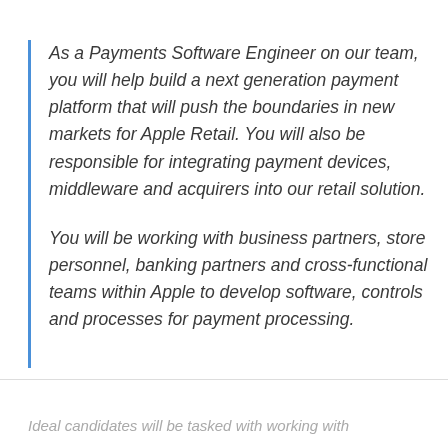As a Payments Software Engineer on our team, you will help build a next generation payment platform that will push the boundaries in new markets for Apple Retail. You will also be responsible for integrating payment devices, middleware and acquirers into our retail solution.
You will be working with business partners, store personnel, banking partners and cross-functional teams within Apple to develop software, controls and processes for payment processing.
Ideal candidates will be tasked with working with